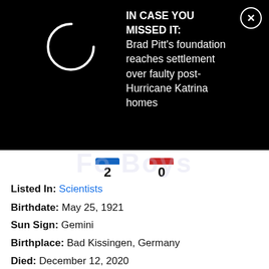IN CASE YOU MISSED IT: Brad Pitt's foundation reaches settlement over faulty post-Hurricane Katrina homes
[Figure (screenshot): Score display with blue and red indicator bars showing 2 and 0]
Listed In: Scientists
Birthdate: May 25, 1921
Sun Sign: Gemini
Birthplace: Bad Kissingen, Germany
Died: December 12, 2020
27 Risë Stevens
Celebrities Born On My Birthday? Enter Your DOB GO